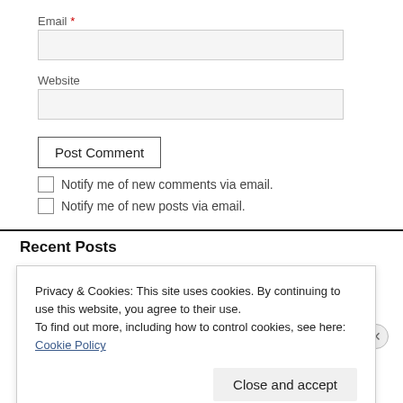Email *
Website
Post Comment
Notify me of new comments via email.
Notify me of new posts via email.
Recent Posts
Privacy & Cookies: This site uses cookies. By continuing to use this website, you agree to their use.
To find out more, including how to control cookies, see here: Cookie Policy
Close and accept